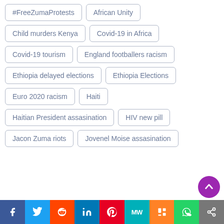#FreeZumaProtests
African Unity
Child murders Kenya
Covid-19 in Africa
Covid-19 tourism
England footballers racism
Ethiopia delayed elections
Ethiopia Elections
Euro 2020 racism
Haiti
Haitian President assasination
HIV new pill
Jacon Zuma riots
Jovenel Moise assasination
f  Twitter  Reddit  in  Pinterest  MW  Mix  WhatsApp  Share